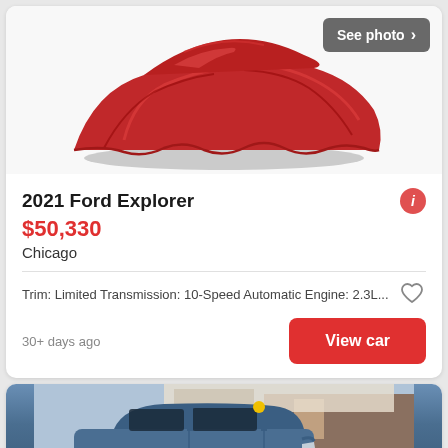[Figure (photo): Car covered with a red cloth/drape on white background, with a 'See photo >' button overlay in top right]
2021 Ford Explorer
$50,330
Chicago
Trim: Limited Transmission: 10-Speed Automatic Engine: 2.3L...
30+ days ago
View car
[Figure (photo): Blue Ford Explorer SUV parked in a dealership lot, partial view showing front and side]